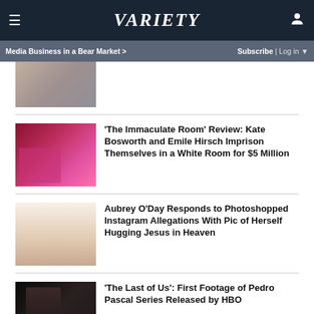VARIETY
Media Business in a Bear Market >
Subscribe | Log in
[Figure (photo): Partial top article thumbnail - elderly man]
'The Immaculate Room' Review: Kate Bosworth and Emile Hirsch Imprison Themselves in a White Room for $5 Million
[Figure (photo): Red-lit scene from The Immaculate Room]
Aubrey O'Day Responds to Photoshopped Instagram Allegations With Pic of Herself Hugging Jesus in Heaven
[Figure (photo): Aubrey O'Day in white dress on red carpet]
'The Last of Us': First Footage of Pedro Pascal Series Released by HBO
[Figure (photo): Dark scene from The Last of Us]